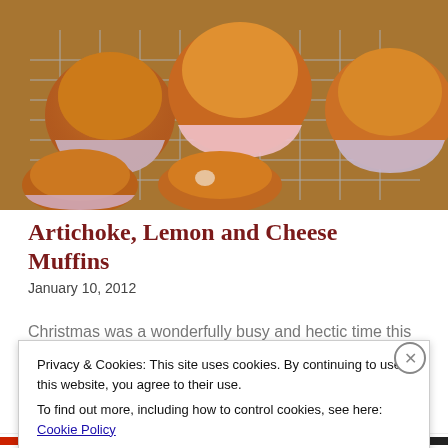[Figure (photo): Artichoke, lemon and cheese muffins cooling on a wire rack, in colorful paper cupcake liners, golden-brown tops visible]
Artichoke, Lemon and Cheese Muffins
January 10, 2012
Christmas was a wonderfully busy and hectic time this
Privacy & Cookies: This site uses cookies. By continuing to use this website, you agree to their use. To find out more, including how to control cookies, see here: Cookie Policy
Close and accept